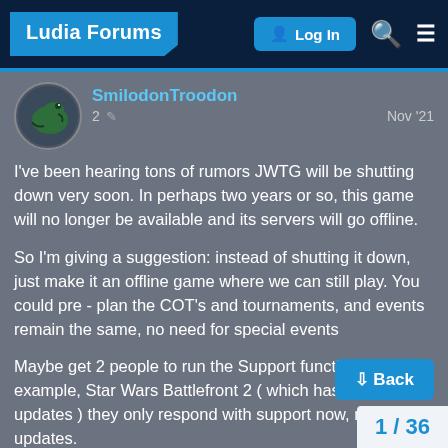Ludia Forums  Log In
SmilodonTroodon  2  Nov '21

I've been hearing tons of rumors JWTG will be shutting down very soon. In perhaps two years or so, this game will no longer be available and its servers will go offline.

So I'm giving a suggestion: instead of shutting it down, just make it an offline game where we can still play. You could pre - plan the COT's and tournaments, and events remain the same, no need for special events

Maybe get 2 people to run the Support function. In an example, Star Wars Battlefront 2 ( which has ceased updates ) they only respond with support now, no more updates.

I do not want this game to sink into the ashes of... to me it has been something special since late 2020 during the pandemic.
1 / 36